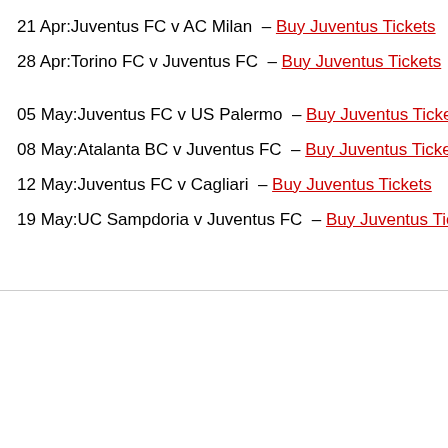21 Apr:Juventus FC v AC Milan  – Buy Juventus Tickets
28 Apr:Torino FC v Juventus FC  – Buy Juventus Tickets
05 May:Juventus FC v US Palermo  – Buy Juventus Tickets
08 May:Atalanta BC v Juventus FC  – Buy Juventus Tickets
12 May:Juventus FC v Cagliari  – Buy Juventus Tickets
19 May:UC Sampdoria v Juventus FC  – Buy Juventus Tickets